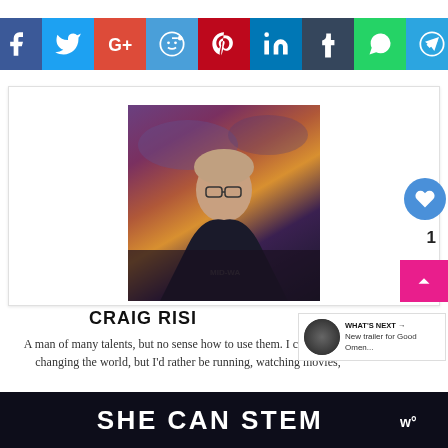[Figure (other): Social media share bar with icons for Facebook, Twitter, Google+, Reddit, Pinterest, LinkedIn, Tumblr, WhatsApp, Telegram]
[Figure (photo): Profile photo of Craig Risi, a man wearing glasses with a dramatic sunset sky background]
CRAIG RISI
A man of many talents, but no sense how to use them. I could be out changing the world, but I'd rather be running, watching movies,
[Figure (other): SHE CAN STEM banner with logo at the bottom of page]